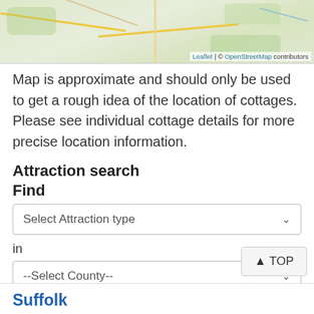[Figure (map): OpenStreetMap tile showing a rural area with roads and green areas. Attribution: Leaflet | © OpenStreetMap contributors]
Map is approximate and should only be used to get a rough idea of the location of cottages. Please see individual cottage details for more precise location information.
Attraction search
Find
Select Attraction type
in
--Select County--
Find
TOP
Suffolk